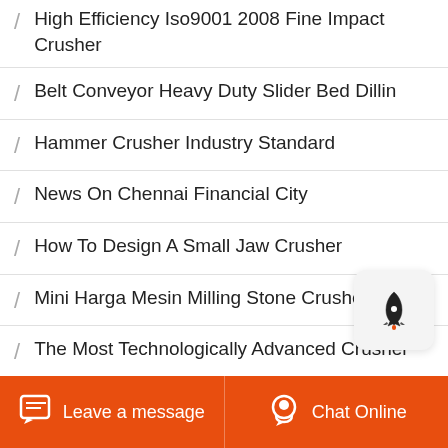High Efficiency Iso9001 2008 Fine Impact Crusher
Belt Conveyor Heavy Duty Slider Bed Dillin
Hammer Crusher Industry Standard
News On Chennai Financial City
How To Design A Small Jaw Crusher
Mini Harga Mesin Milling Stone Crusher
The Most Technologically Advanced Crusher
Frederick Parker Company Ltd For Crusher
Process Of Crushing Rock In Aggregate
Leave a message  Chat Online